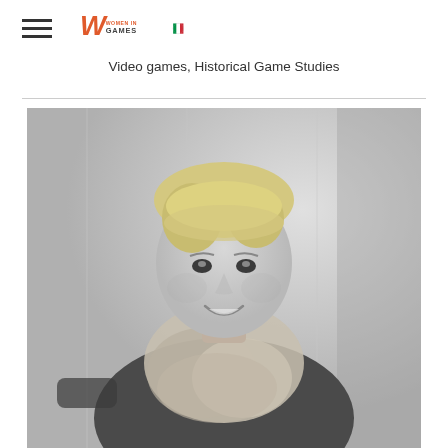Women in Games Italia — navigation header with logo
Video games, Historical Game Studies
[Figure (photo): Black and white portrait photo of a smiling middle-aged woman with short blonde hair, wearing a dark jacket and a light crinkled scarf around her neck, standing against a light-colored wall background.]